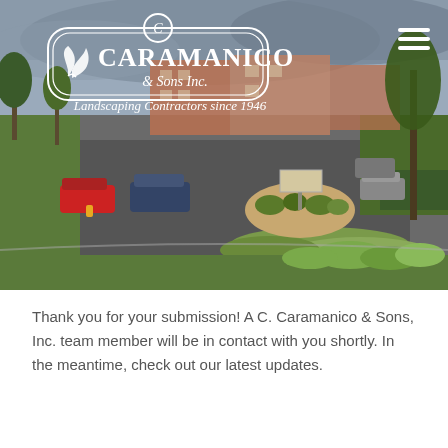[Figure (photo): Landscape photograph of a commercial property parking lot with manicured green lawns, shrubs, trees, brick buildings in the background, cars parked, and a monument sign in the center median. Overcast sky. The Caramanico & Sons Inc. landscaping logo is overlaid at the top left, with a hamburger menu icon at the top right.]
Thank you for your submission! A C. Caramanico & Sons, Inc. team member will be in contact with you shortly. In the meantime, check out our latest updates.